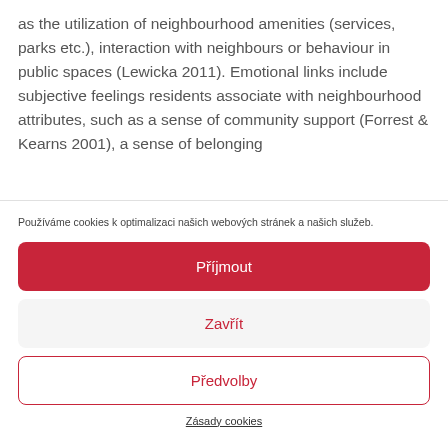as the utilization of neighbourhood amenities (services, parks etc.), interaction with neighbours or behaviour in public spaces (Lewicka 2011). Emotional links include subjective feelings residents associate with neighbourhood attributes, such as a sense of community support (Forrest & Kearns 2001), a sense of belonging
Používáme cookies k optimalizaci našich webových stránek a našich služeb.
Příjmout
Zavřít
Předvolby
Zásady cookies